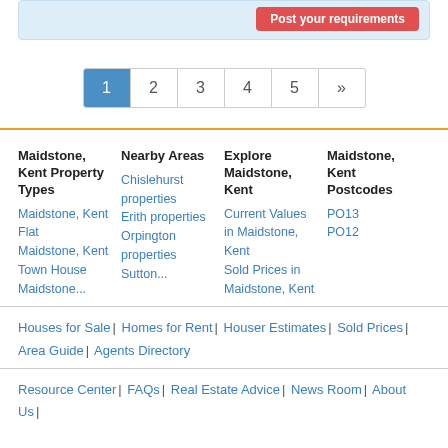[Figure (screenshot): Partial top banner with blue background and red 'Post your requirements' button]
Pagination: 1 (active), 2, 3, 4, 5, »
Maidstone, Kent Property Types | Nearby Areas | Explore Maidstone, Kent | Maidstone, Kent Postcodes
Maidstone, Kent Flat
Maidstone, Kent Town House
Maidstone...
Chislehurst properties
Erith properties
Orpington properties
Sutton...
Current Values in Maidstone, Kent
Sold Prices in Maidstone, Kent
PO13
PO12
Houses for Sale | Homes for Rent | Houser Estimates | Sold Prices | Area Guide | Agents Directory
Resource Center | FAQs | Real Estate Advice | News Room | About Us |